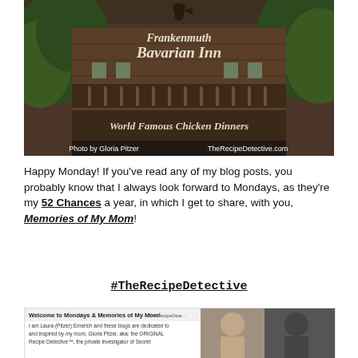[Figure (photo): Exterior sign of Frankenmuth Bavarian Inn reading 'Frankenmuth Bavarian Inn – World Famous Chicken Dinners' with a rooster on top, surrounded by trees. Caption text: 'Photo by Gloria Pitzer' and 'TheRecipeDetective.com']
Happy Monday! If you've read any of my blog posts, you probably know that I always look forward to Mondays, as they're my 52 Chances a year, in which I get to share, with you, Memories of My Mom!
#TheRecipeDetective
[Figure (screenshot): Screenshot of blog post titled 'Welcome to Mondays & Memories of My Mom!' from TheRecipeDetective.com, with text 'I am Laura (Pitzer) Emerich and these blogs are dedicated to and inspired by my mom, Gloria Pitzer, aka: the ORIGINAL Recipe Detective™, the private investigator of Secret' and photos of people.]